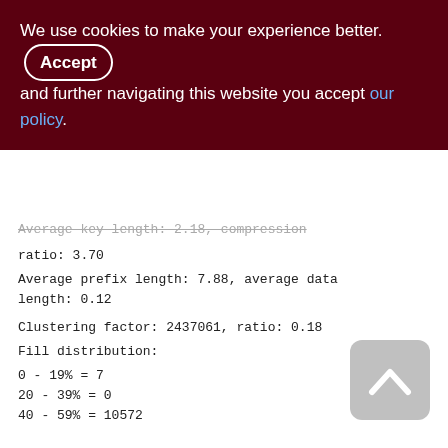We use cookies to make your experience better. By accepting and further navigating this website you accept our policy.
Average key length: 2.18, compression ratio: 3.70
Average prefix length: 7.88, average data length: 0.12
Clustering factor: 2437061, ratio: 0.18
Fill distribution:
0 - 19% = 7
20 - 39% = 0
40 - 59% = 10572
60 - 79% = 3381
80 - 99% = 1951
Index PERF_LOG_GDSCODE (3)